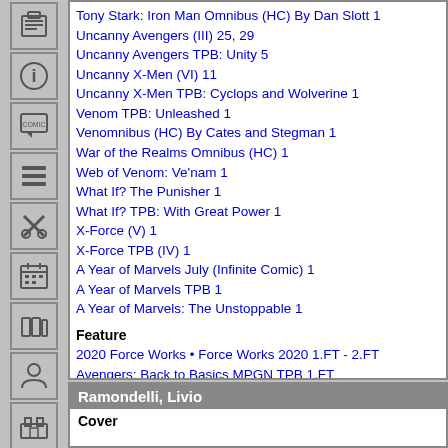Tony Stark: Iron Man Omnibus (HC) By Dan Slott 1
Uncanny Avengers (III) 25, 29
Uncanny Avengers TPB: Unity 5
Uncanny X-Men (VI) 11
Uncanny X-Men TPB: Cyclops and Wolverine 1
Venom TPB: Unleashed 1
Venomnibus (HC) By Cates and Stegman 1
War of the Realms Omnibus (HC) 1
Web of Venom: Ve'nam 1
What If? The Punisher 1
What If? TPB: With Great Power 1
X-Force (V) 1
X-Force TPB (IV) 1
A Year of Marvels July (Infinite Comic) 1
A Year of Marvels TPB 1
A Year of Marvels: The Unstoppable 1
Feature
2020 Force Works • Force Works 2020 1.FT - 2.FT
Avengers: Back to Basics MPGN TPB 1.FT
Dark Tower: The Drawing of the Three - The Sailor 1.FT - 5.FT
King in Black Handbook 1.FT
Top
Ramondelli, Livio
Cover